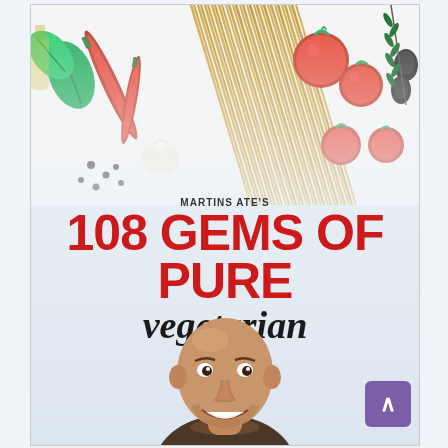[Figure (illustration): Book cover illustration showing food ingredients at top: spaghetti, red chili peppers, cherry tomatoes, basil leaves, garlic, black olives, olive oil bottle, peppercorns on a white/light background]
MARTINS ATE'S
108 GEMS OF PURE
vegetarian
food
[Figure (photo): Portrait photo of a bald smiling man (author) visible from shoulders up at the bottom of the cover]